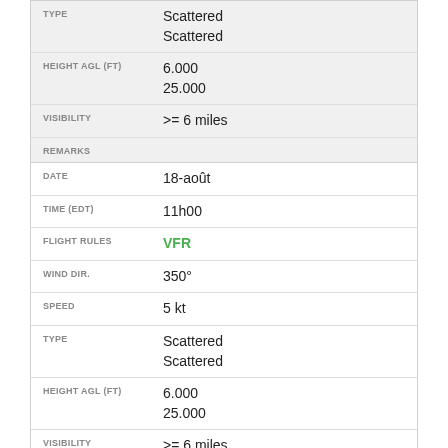| Field | Value |
| --- | --- |
| TYPE | Scattered
Scattered |
| HEIGHT AGL (FT) | 6.000
25.000 |
| VISIBILITY | >= 6 miles |
| REMARKS |  |
| Field | Value |
| --- | --- |
| DATE | 18-août |
| TIME (EDT) | 11h00 |
| FLIGHT RULES | VFR |
| WIND DIR. | 350° |
| SPEED | 5 kt |
| TYPE | Scattered
Scattered |
| HEIGHT AGL (FT) | 6.000
25.000 |
| VISIBILITY | >= 6 miles |
| REMARKS |  |
Historique récent du MQJ de METAR
| Field | Value |
| --- | --- |
| DATE | 18-août |
| TIME (EDT) | 11h55 |
| FLIGHT RULES | VFR |